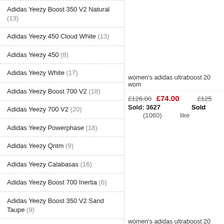Adidas Yeezy Boost 350 V2 Natural (13)
Adidas Yeezy 450 Cloud White (13)
Adidas Yeezy 450 (8)
Adidas Yeezy White (17)
Adidas Yeezy Boost 700 V2 (18)
Adidas Yeezy 700 V2 (20)
Adidas Yeezy Powerphase (18)
Adidas Yeezy Qntm (9)
Adidas Yeezy Calabasas (16)
Adidas Yeezy Boost 700 Inertia (6)
Adidas Yeezy Boost 350 V2 Sand Taupe (9)
Adidas Yeezy V2 (18)
Adidas Yeezy Foam Rnnr Ararat (6)
Adidas Yeezy Kids (25)
Adidas Yeezy Boost 380 Calcite
women's adidas ultraboost 20   wom
£126.00  £74.00   £125  Sold: 3627  Sold  (1060)  like
women's adidas ultraboost 20   wom